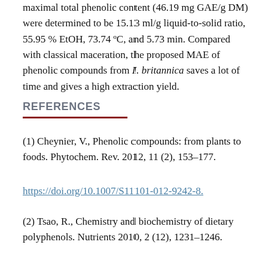maximal total phenolic content (46.19 mg GAE/g DM) were determined to be 15.13 ml/g liquid-to-solid ratio, 55.95 % EtOH, 73.74 ºC, and 5.73 min. Compared with classical maceration, the proposed MAE of phenolic compounds from I. britannica saves a lot of time and gives a high extraction yield.
REFERENCES
(1) Cheynier, V., Phenolic compounds: from plants to foods. Phytochem. Rev. 2012, 11 (2), 153–177.
https://doi.org/10.1007/S11101-012-9242-8.
(2) Tsao, R., Chemistry and biochemistry of dietary polyphenols. Nutrients 2010, 2 (12), 1231–1246.